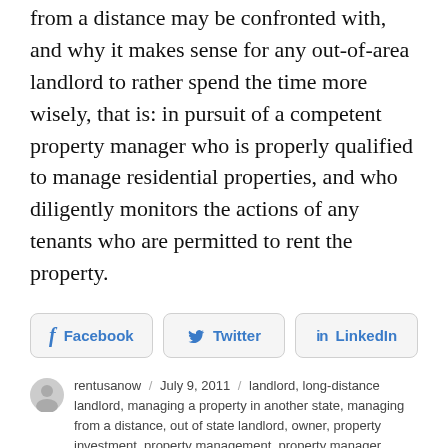from a distance may be confronted with, and why it makes sense for any out-of-area landlord to rather spend the time more wisely, that is: in pursuit of a competent property manager who is properly qualified to manage residential properties, and who diligently monitors the actions of any tenants who are permitted to rent the property.
[Figure (other): Social sharing buttons for Facebook, Twitter, and LinkedIn]
rentusanow / July 9, 2011 / landlord, long-distance landlord, managing a property in another state, managing from a distance, out of state landlord, owner, property investment, property management, property manager, property owner, rental, rental income, tenant / Leave a comment